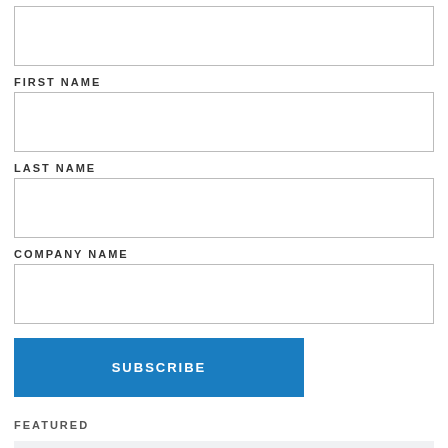[Figure (other): Empty input box at top of page (partially visible)]
FIRST NAME
[Figure (other): First name input field (empty text box)]
LAST NAME
[Figure (other): Last name input field (empty text box)]
COMPANY NAME
[Figure (other): Company name input field (empty text box)]
SUBSCRIBE
FEATURED
[Security Tip] July Security Threats Summarized